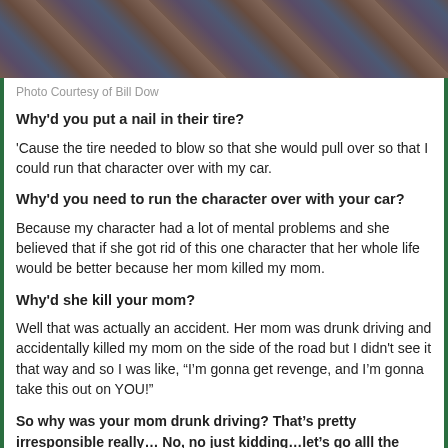[Figure (photo): Party crowd photo at top of page]
Photo Courtesy of Bill Dow
Why'd you put a nail in their tire?
'Cause the tire needed to blow so that she would pull over so that I could run that character over with my car.
Why'd you need to run the character over with your car?
Because my character had a lot of mental problems and she believed that if she got rid of this one character that her whole life would be better because her mom killed my mom.
Why'd she kill your mom?
Well that was actually an accident. Her mom was drunk driving and accidentally killed my mom on the side of the road but I didn't see it that way and so I was like, “I’m gonna get revenge, and I’m gonna take this out on YOU!”
So why was your mom drunk driving? That’s pretty irresponsible really… No, no just kidding…let’s go alll the waayyy baack!!!